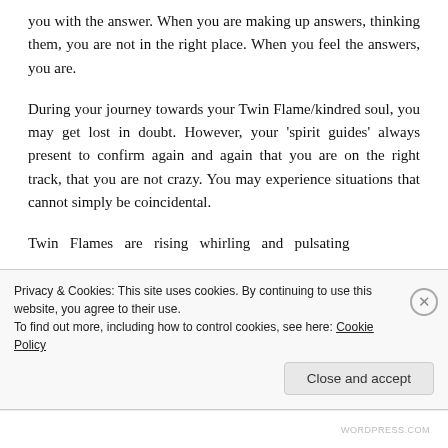you with the answer. When you are making up answers, thinking them, you are not in the right place. When you feel the answers, you are.
During your journey towards your Twin Flame/kindred soul, you may get lost in doubt. However, your 'spirit guides' always present to confirm again and again that you are on the right track, that you are not crazy. You may experience situations that cannot simply be coincidental.
Twin Flames are rising whirling and pulsating
Privacy & Cookies: This site uses cookies. By continuing to use this website, you agree to their use.
To find out more, including how to control cookies, see here: Cookie Policy
Close and accept